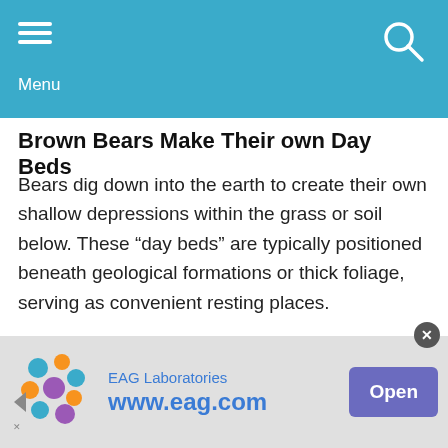Menu
Brown Bears Make Their own Day Beds
Bears dig down into the earth to create their own shallow depressions within the grass or soil below. These “day beds” are typically positioned beneath geological formations or thick foliage, serving as convenient resting places.
However, once fall rolls around, brown bears will travel mile after mile to seek out food in the form of salmon and berries.
[Figure (infographic): Advertisement banner for EAG Laboratories showing logo, website www.eag.com, and an Open button]